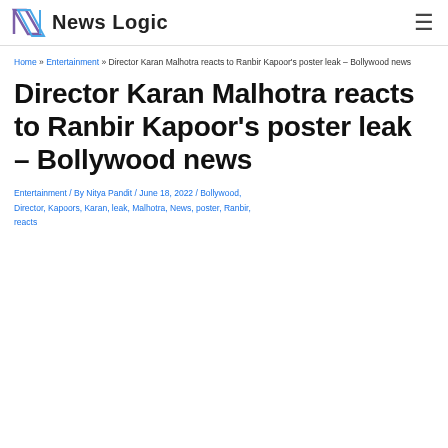News Logic
Home » Entertainment » Director Karan Malhotra reacts to Ranbir Kapoor's poster leak – Bollywood news
Director Karan Malhotra reacts to Ranbir Kapoor's poster leak – Bollywood news
Entertainment / By Nitya Pandit / June 18, 2022 / Bollywood, Director, Kapoors, Karan, leak, Malhotra, News, poster, Ranbir, reacts